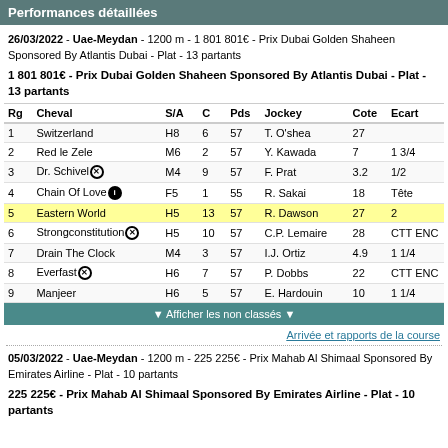Performances détaillées
26/03/2022 - Uae-Meydan - 1200 m - 1 801 801€ - Prix Dubai Golden Shaheen Sponsored By Atlantis Dubai - Plat - 13 partants
1 801 801€ - Prix Dubai Golden Shaheen Sponsored By Atlantis Dubai - Plat - 13 partants
| Rg | Cheval | S/A | C | Pds | Jockey | Cote | Ecart |
| --- | --- | --- | --- | --- | --- | --- | --- |
| 1 | Switzerland | H8 | 6 | 57 | T. O'shea | 27 |  |
| 2 | Red le Zele | M6 | 2 | 57 | Y. Kawada | 7 | 1 3/4 |
| 3 | Dr. Schivel⊗ | M4 | 9 | 57 | F. Prat | 3.2 | 1/2 |
| 4 | Chain Of Love① | F5 | 1 | 55 | R. Sakai | 18 | Tête |
| 5 | Eastern World | H5 | 13 | 57 | R. Dawson | 27 | 2 |
| 6 | Strongconstitution⊗ | H5 | 10 | 57 | C.P. Lemaire | 28 | CTT ENC |
| 7 | Drain The Clock | M4 | 3 | 57 | I.J. Ortiz | 4.9 | 1 1/4 |
| 8 | Everfast⊗ | H6 | 7 | 57 | P. Dobbs | 22 | CTT ENC |
| 9 | Manjeer | H6 | 5 | 57 | E. Hardouin | 10 | 1 1/4 |
▼ Afficher les non classés ▼
Arrivée et rapports de la course
05/03/2022 - Uae-Meydan - 1200 m - 225 225€ - Prix Mahab Al Shimaal Sponsored By Emirates Airline - Plat - 10 partants
225 225€ - Prix Mahab Al Shimaal Sponsored By Emirates Airline - Plat - 10 partants